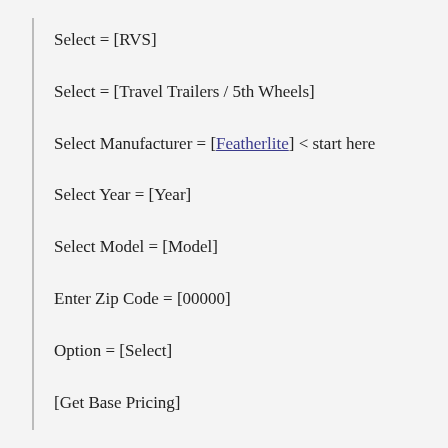Select = [RVS]
Select = [Travel Trailers / 5th Wheels]
Select Manufacturer = [Featherlite] < start here
Select Year = [Year]
Select Model = [Model]
Enter Zip Code = [00000]
Option = [Select]
[Get Base Pricing]